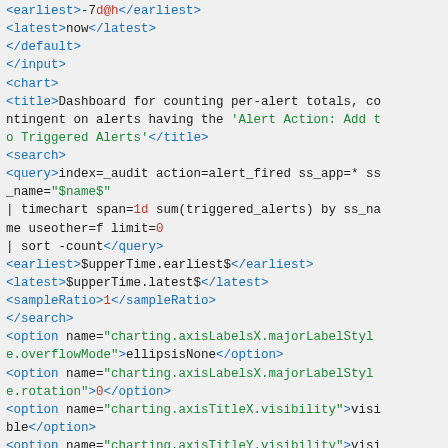<earliest>-7d@h</earliest>
<latest>now</latest>
</default>
</input>
<chart>
<title>Dashboard for counting per-alert totals, contingent on alerts having the 'Alert Action: Add to Triggered Alerts'</title>
<search>
<query>index=_audit action=alert_fired ss_app=* ss_name="$name$"
| timechart span=1d sum(triggered_alerts) by ss_name useother=f limit=0
| sort -count</query>
<earliest>$upperTime.earliest$</earliest>
<latest>$upperTime.latest$</latest>
<sampleRatio>1</sampleRatio>
</search>
<option name="charting.axisLabelsX.majorLabelStyle.overflowMode">ellipsisNone</option>
<option name="charting.axisLabelsX.majorLabelStyle.rotation">0</option>
<option name="charting.axisTitleX.visibility">visible</option>
<option name="charting.axisTitleY.visibility">visible</option>
<option name="charting.axisTitleY2.visibility">vis